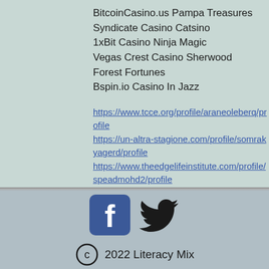BitcoinCasino.us Pampa Treasures
Syndicate Casino Catsino
1xBit Casino Ninja Magic
Vegas Crest Casino Sherwood Forest Fortunes
Bspin.io Casino In Jazz
https://www.tcce.org/profile/araneoleberq/profile
https://un-altra-stagione.com/profile/somrakyagerd/profile
https://www.theedgelifeinstitute.com/profile/speadmohd2/profile
https://www.coastlandcoffee.com/profile/decouxkaili8/profile
[Figure (logo): Facebook and Twitter social media icons]
2022 Literacy Mix